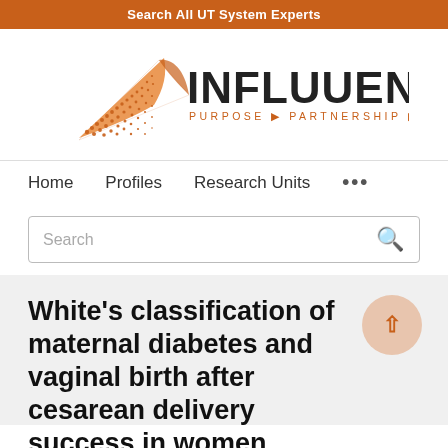Search All UT System Experts
[Figure (logo): Influuent logo with orange geometric bird/triangle shape and text INFLUUENT PURPOSE PARTNERSHIP PROGRESS]
Home   Profiles   Research Units   ...
Search
White's classification of maternal diabetes and vaginal birth after cesarean delivery success in women